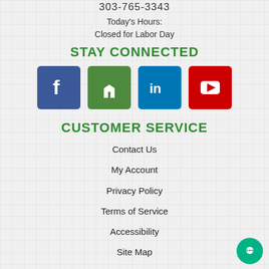303-765-3343
Today's Hours:
Closed for Labor Day
STAY CONNECTED
[Figure (infographic): Four social media icons in colored squares: Facebook (blue), Houzz (green), LinkedIn (blue), YouTube (red)]
CUSTOMER SERVICE
Contact Us
My Account
Privacy Policy
Terms of Service
Accessibility
Site Map
Do Not Sell My Personal Information
Welcome to our website! As we have the ability to list over one million items on our website (our selection changes all of the time), it is not